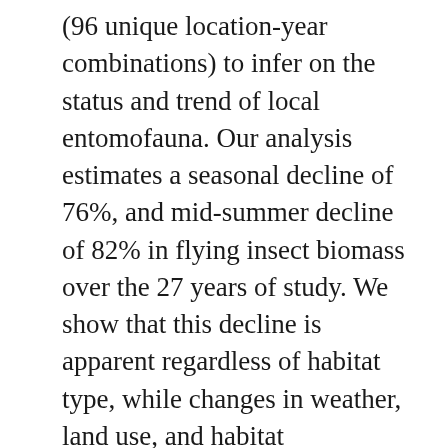(96 unique location-year combinations) to infer on the status and trend of local entomofauna. Our analysis estimates a seasonal decline of 76%, and mid-summer decline of 82% in flying insect biomass over the 27 years of study. We show that this decline is apparent regardless of habitat type, while changes in weather, land use, and habitat characteristics cannot explain this overall decline. This yet unrecognized loss of insect biomass must be taken into account in evaluating declines in abundance of species depending on insects as a food source, and ecosystem functioning in the European landscape.